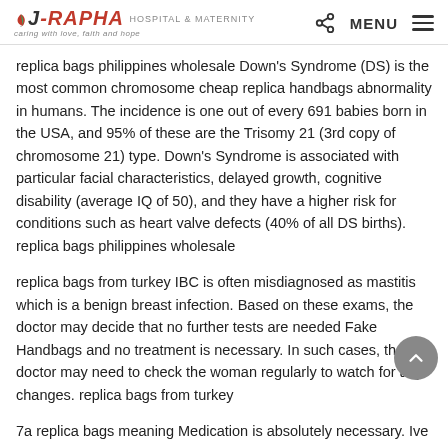J-RAPHA HOSPITAL & MATERNITY — caring with love, faith and hope | MENU
replica bags philippines wholesale Down's Syndrome (DS) is the most common chromosome cheap replica handbags abnormality in humans. The incidence is one out of every 691 babies born in the USA, and 95% of these are the Trisomy 21 (3rd copy of chromosome 21) type. Down's Syndrome is associated with particular facial characteristics, delayed growth, cognitive disability (average IQ of 50), and they have a higher risk for conditions such as heart valve defects (40% of all DS births). replica bags philippines wholesale
replica bags from turkey IBC is often misdiagnosed as mastitis which is a benign breast infection. Based on these exams, the doctor may decide that no further tests are needed Fake Handbags and no treatment is necessary. In such cases, the doctor may need to check the woman regularly to watch for any changes. replica bags from turkey
7a replica bags meaning Medication is absolutely necessary. Ive never understood the thinking behind why those of us with